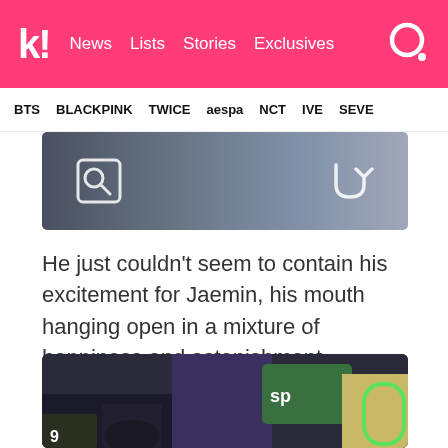k! News Lists Stories Exclusives
BTS BLACKPINK TWICE aespa NCT IVE SEVE
[Figure (photo): Cropped photo strip showing phones and accessories with search and return icons overlay]
He just couldn't seem to contain his excitement for Jaemin, his mouth hanging open in a mixture of happiness and astonishment.
[Figure (photo): Photo of K-pop fans or idols at an event, person with dark hair in foreground, green accessories visible, crowd cheering]